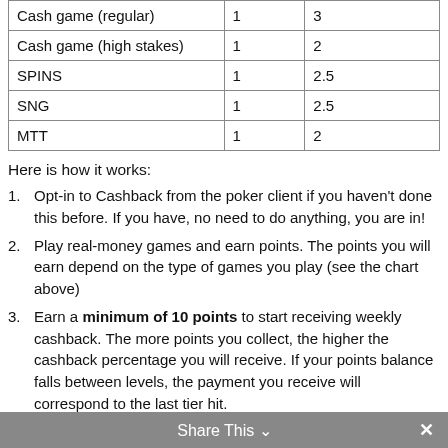| Cash game (regular) | 1 | 3 |
| Cash game (high stakes) | 1 | 2 |
| SPINS | 1 | 2.5 |
| SNG | 1 | 2.5 |
| MTT | 1 | 2 |
Here is how it works:
Opt-in to Cashback from the poker client if you haven't done this before. If you have, no need to do anything, you are in!
Play real-money games and earn points. The points you will earn depend on the type of games you play (see the chart above)
Earn a minimum of 10 points to start receiving weekly cashback. The more points you collect, the higher the cashback percentage you will receive. If your points balance falls between levels, the payment you receive will correspond to the last tier hit.
All the cashback you earned will be paid directly to your